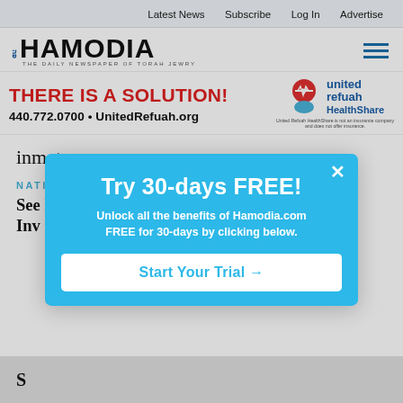Latest News   Subscribe   Log In   Advertise
[Figure (logo): Hamodia logo — The Daily Newspaper of Torah Jewry]
[Figure (infographic): United Refuah HealthShare advertisement: THERE IS A SOLUTION! 440.772.0700 • UnitedRefuah.org with United Refuah HealthShare logo and disclaimer text]
inmates
NATIONAL
See It? Squish It! Fighting the Inv
[Figure (screenshot): Popup overlay: Try 30-days FREE! Unlock all the benefits of Hamodia.com FREE for 30-days by clicking below. Start Your Trial →]
S